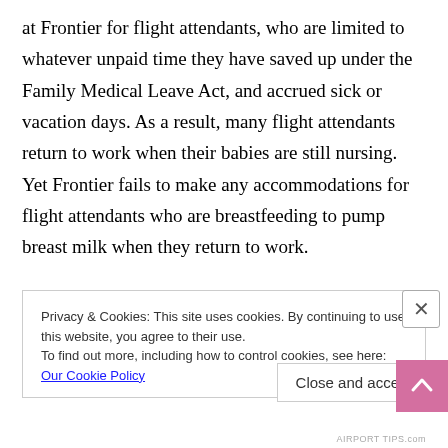at Frontier for flight attendants, who are limited to whatever unpaid time they have saved up under the Family Medical Leave Act, and accrued sick or vacation days. As a result, many flight attendants return to work when their babies are still nursing. Yet Frontier fails to make any accommodations for flight attendants who are breastfeeding to pump breast milk when they return to work.

Women who are away from their babies need to express breast milk using a breast pump on roughly the same
Privacy & Cookies: This site uses cookies. By continuing to use this website, you agree to their use.
To find out more, including how to control cookies, see here: Our Cookie Policy
Close and accept